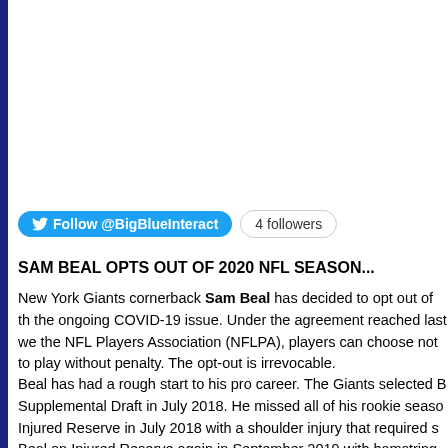[Figure (other): Twitter Follow button for @BigBlueInteract with '4 followers' pill badge]
SAM BEAL OPTS OUT OF 2020 NFL SEASON...
New York Giants cornerback Sam Beal has decided to opt out of the ongoing COVID-19 issue. Under the agreement reached last week with the NFL Players Association (NFLPA), players can choose not to play without penalty. The opt-out is irrevocable.
Beal has had a rough start to his pro career. The Giants selected Beal in the Supplemental Draft in July 2018. He missed all of his rookie season after going on Injured Reserve in July 2018 with a shoulder injury that required surgery. The Giants placed Beal on Injured Reserve again in September 2019 with hamstring issues, but later added him to the 53-man roster in early November. Beal missed t